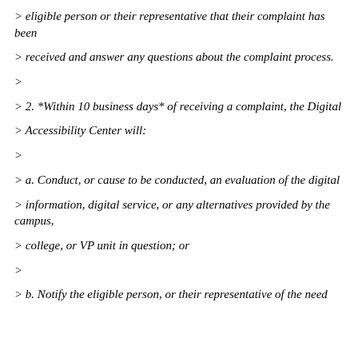> eligible person or their representative that their complaint has been
> received and answer any questions about the complaint process.
>
> 2. *Within 10 business days* of receiving a complaint, the Digital
> Accessibility Center will:
>
> a. Conduct, or cause to be conducted, an evaluation of the digital
> information, digital service, or any alternatives provided by the campus,
> college, or VP unit in question; or
>
> b. Notify the eligible person, or their representative of the need